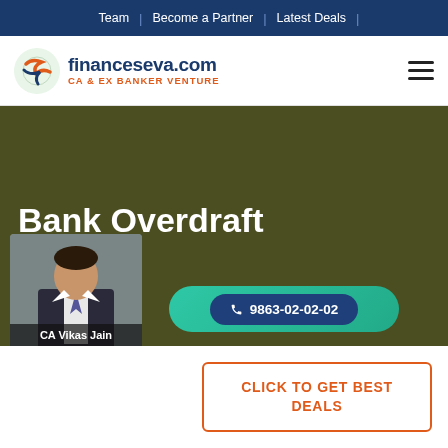Team | Become a Partner | Latest Deals |
[Figure (logo): financeseva.com logo with icon — CA & EX BANKER VENTURE]
Bank Overdraft Margin
📞 9863-02-02-02
[Figure (photo): Photo of CA Vikas Jain in business suit with name label]
CLICK TO GET BEST DEALS